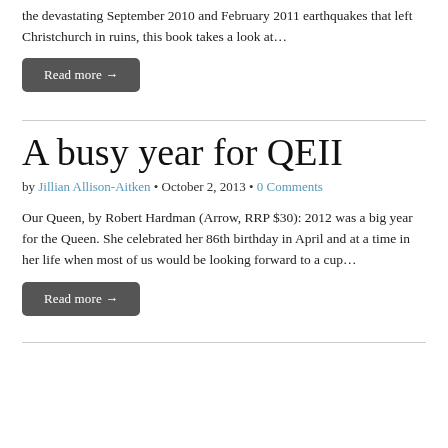the devastating September 2010 and February 2011 earthquakes that left Christchurch in ruins, this book takes a look at…
Read more →
A busy year for QEII
by Jillian Allison-Aitken • October 2, 2013 • 0 Comments
Our Queen, by Robert Hardman (Arrow, RRP $30): 2012 was a big year for the Queen. She celebrated her 86th birthday in April and at a time in her life when most of us would be looking forward to a cup…
Read more →